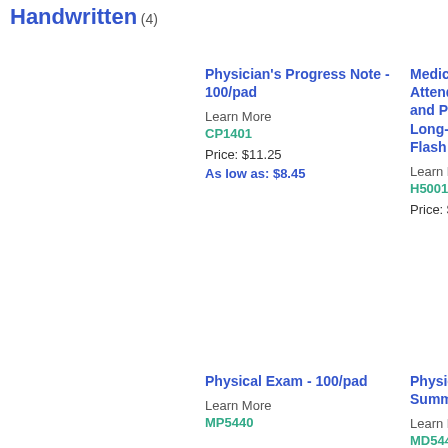Handwritten (4)
Physician's Progress Note - 100/pad
Learn More
CP1401
Price: $11.25
As low as: $8.45
Medical Director, Attending Physician and Procedure Note Long-Term Care Flash Drive
Learn More
H50010
Price: $315.00
Physical Exam - 100/pad
Learn More
MP5440
Physician's Discharge Summary - 100/p
Learn More
MD5445